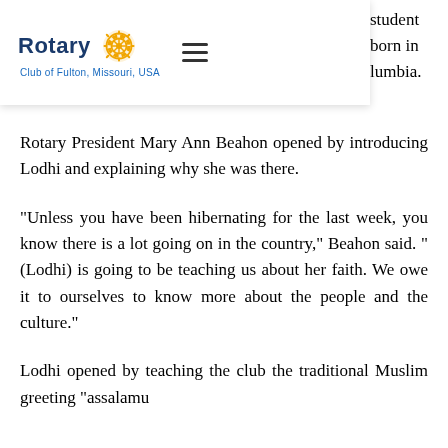Rotary Club of Fulton, Missouri, USA
student born in lumbia.
Rotary President Mary Ann Beahon opened by introducing Lodhi and explaining why she was there.
"Unless you have been hibernating for the last week, you know there is a lot going on in the country," Beahon said. "(Lodhi) is going to be teaching us about her faith. We owe it to ourselves to know more about the people and the culture."
Lodhi opened by teaching the club the traditional Muslim greeting "assalamu